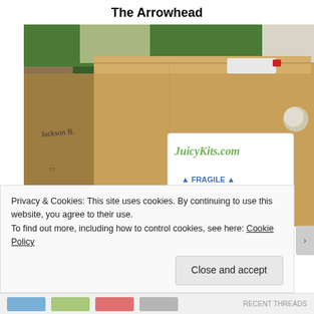The Arrowhead
[Figure (photo): A cardboard shipping box sitting under a Christmas tree with green garland. The box has a white label showing 'JuicyKits.com' and 'FRAGILE This Side Up' with upward arrows. The box is sitting on red plaid wrapping paper.]
Privacy & Cookies: This site uses cookies. By continuing to use this website, you agree to their use.
To find out more, including how to control cookies, see here: Cookie Policy